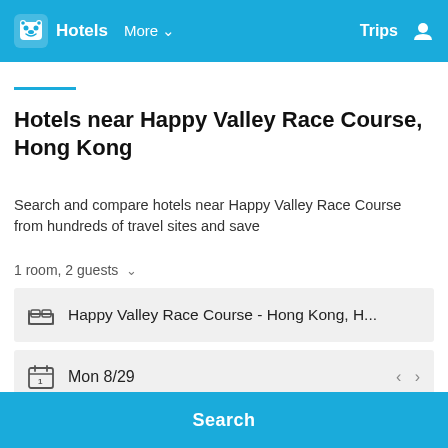Hotels  More  Trips
Hotels near Happy Valley Race Course, Hong Kong
Search and compare hotels near Happy Valley Race Course from hundreds of travel sites and save
1 room, 2 guests
Happy Valley Race Course - Hong Kong, H...
Mon 8/29
Tue 8/30
Search